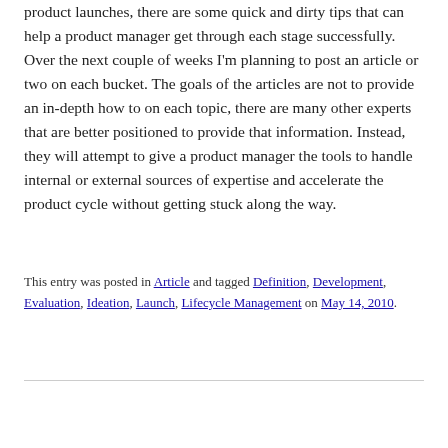product launches, there are some quick and dirty tips that can help a product manager get through each stage successfully. Over the next couple of weeks I'm planning to post an article or two on each bucket. The goals of the articles are not to provide an in-depth how to on each topic, there are many other experts that are better positioned to provide that information. Instead, they will attempt to give a product manager the tools to handle internal or external sources of expertise and accelerate the product cycle without getting stuck along the way.
This entry was posted in Article and tagged Definition, Development, Evaluation, Ideation, Launch, Lifecycle Management on May 14, 2010.